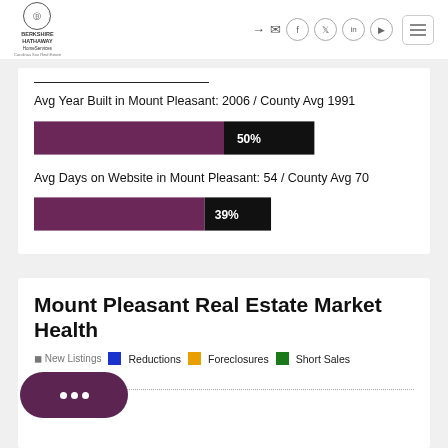Berkshire Hathaway HomeServices Carolinas Sun Real Estate — navigation header
Avg Year Built in Mount Pleasant: 2006 / County Avg 1991
[Figure (bar-chart): Avg Year Built comparison]
Avg Days on Website in Mount Pleasant: 54 / County Avg 70
[Figure (bar-chart): Avg Days on Website comparison]
Mount Pleasant Real Estate Market Health
New Listings   Reductions   Foreclosures   Short Sales
250